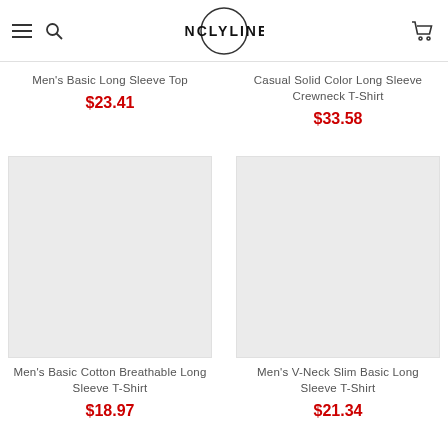INCLYLINE
Men's Basic Long Sleeve Top
$23.41
Casual Solid Color Long Sleeve Crewneck T-Shirt
$33.58
[Figure (photo): Product image placeholder for Men's Basic Cotton Breathable Long Sleeve T-Shirt]
[Figure (photo): Product image placeholder for Men's V-Neck Slim Basic Long Sleeve T-Shirt]
Men's Basic Cotton Breathable Long Sleeve T-Shirt
$18.97
Men's V-Neck Slim Basic Long Sleeve T-Shirt
$21.34